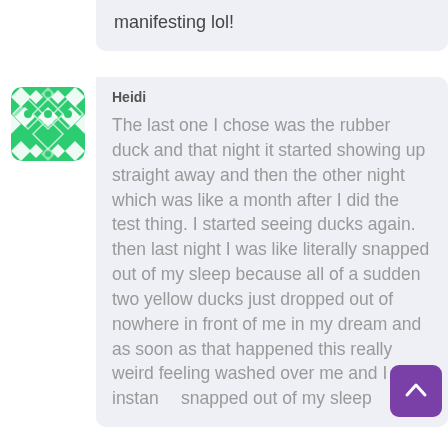manifesting lol!
Heidi

The last one I chose was the rubber duck and that night it started showing up straight away and then the other night which was like a month after I did the test thing. I started seeing ducks again. then last night I was like literally snapped out of my sleep because all of a sudden two yellow ducks just dropped out of nowhere in front of me in my dream and as soon as that happened this really weird feeling washed over me and I instantly snapped out of my sleep